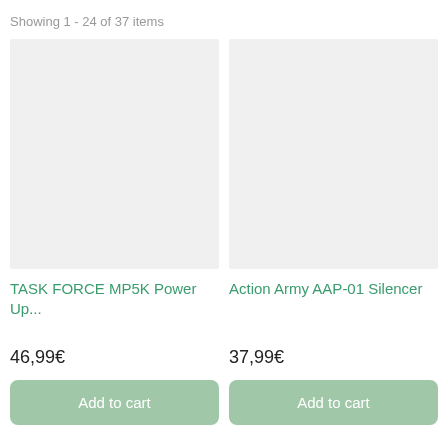Showing 1 - 24 of 37 items
[Figure (photo): Product image placeholder for TASK FORCE MP5K Power Up... - light grey rectangle]
TASK FORCE MP5K Power Up...
46,99€
Add to cart
[Figure (photo): Product image placeholder for Action Army AAP-01 Silencer - light grey rectangle]
Action Army AAP-01 Silencer
37,99€
Add to cart